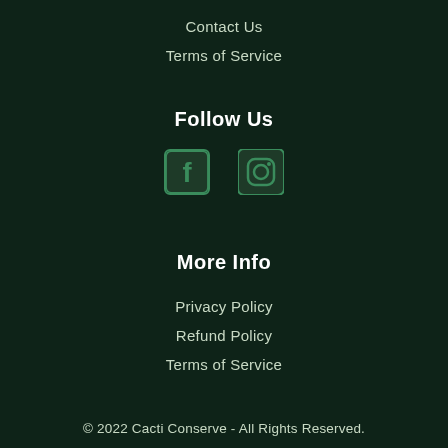Contact Us
Terms of Service
Follow Us
[Figure (illustration): Facebook and Instagram social media icons]
More Info
Privacy Policy
Refund Policy
Terms of Service
© 2022 Cacti Conserve - All Rights Reserved.
[Figure (infographic): Payment method logos: American Express, Apple Pay, Google Pay, Mastercard, PayPal, Shop Pay, Visa]